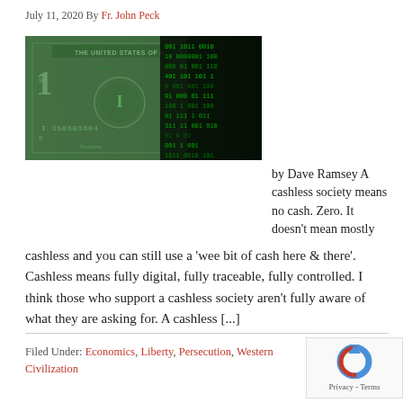July 11, 2020 By Fr. John Peck
[Figure (photo): A US one-dollar bill overlaid with green digital binary code (matrix-style)]
by Dave Ramsey A cashless society means no cash. Zero. It doesn't mean mostly cashless and you can still use a 'wee bit of cash here & there'. Cashless means fully digital, fully traceable, fully controlled. I think those who support a cashless society aren't fully aware of what they are asking for. A cashless [...]
Filed Under: Economics, Liberty, Persecution, Western Civilization